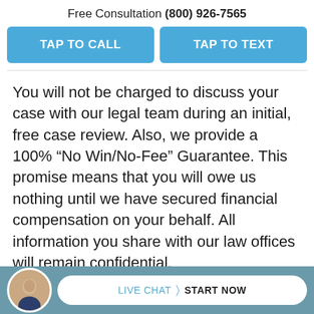Free Consultation (800) 926-7565
TAP TO CALL
TAP TO TEXT
You will not be charged to discuss your case with our legal team during an initial, free case review. Also, we provide a 100% “No Win/No-Fee” Guarantee. This promise means that you will owe us nothing until we have secured financial compensation on your behalf. All information you share with our law offices will remain confidential.
Sources:
[Figure (photo): Avatar photo of a bald man in a suit, displayed in circular crop at bottom left]